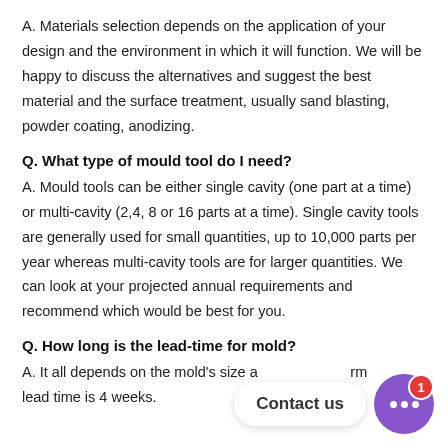A. Materials selection depends on the application of your design and the environment in which it will function. We will be happy to discuss the alternatives and suggest the best material and the surface treatment, usually sand blasting, powder coating, anodizing.
Q. What type of mould tool do I need?
A. Mould tools can be either single cavity (one part at a time) or multi-cavity (2,4, 8 or 16 parts at a time). Single cavity tools are generally used for small quantities, up to 10,000 parts per year whereas multi-cavity tools are for larger quantities. We can look at your projected annual requirements and recommend which would be best for you.
Q. How long is the lead-time for mold?
A. It all depends on the mold's size a... rm... lead time is 4 weeks.